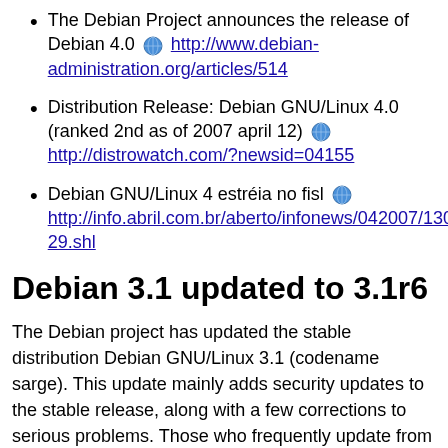The Debian Project announces the release of Debian 4.0 🌐 http://www.debian-administration.org/articles/514
Distribution Release: Debian GNU/Linux 4.0 (ranked 2nd as of 2007 april 12) 🌐 http://distrowatch.com/?newsid=04155
Debian GNU/Linux 4 estréia no fisl 🌐 http://info.abril.com.br/aberto/infonews/042007/13042007_29.shl
Debian 3.1 updated to 3.1r6
The Debian project has updated the stable distribution Debian GNU/Linux 3.1 (codename sarge). This update mainly adds security updates to the stable release, along with a few corrections to serious problems. Those who frequently update from security.debian.org won't have to update many packages and most updates from security.debian.org are included in this update.